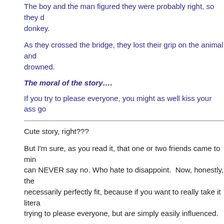The boy and the man figured they were probably right, so they de donkey.
As they crossed the bridge, they lost their grip on the animal and drowned.
The moral of the story….
If you try to please everyone, you might as well kiss your ass goo
Cute story, right???
But I'm sure, as you read it, that one or two friends came to min can NEVER say no. Who hate to disappoint.  Now, honestly, the necessarily perfectly fit, because if you want to really take it litera trying to please everyone, but are simply easily influenced.
Like our children.
But I tend to like the direction that they take it in – the idea of in p usually short-change yourself.